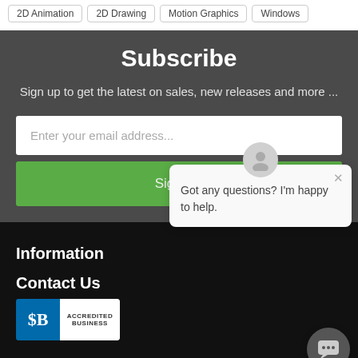2D Animation
2D Drawing
Motion Graphics
Windows
Subscribe
Sign up to get the latest on sales, new releases and more ...
Enter your email address...
Sign Up
Information
Contact Us
[Figure (logo): BBB Accredited Business badge]
Got any questions? I'm happy to help.